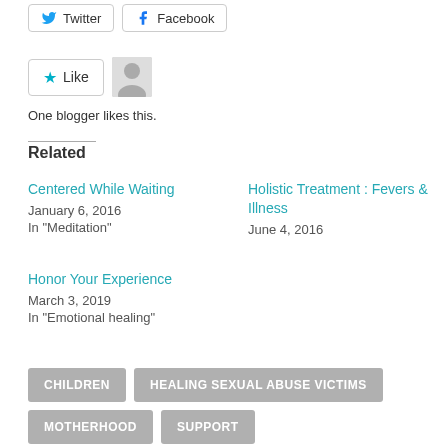[Figure (other): Twitter and Facebook share buttons]
[Figure (other): Like button with blogger avatar and 'One blogger likes this.' text]
One blogger likes this.
Related
Centered While Waiting
January 6, 2016
In "Meditation"
Holistic Treatment : Fevers & Illness
June 4, 2016
Honor Your Experience
March 3, 2019
In "Emotional healing"
CHILDREN
HEALING SEXUAL ABUSE VICTIMS
MOTHERHOOD
SUPPORT